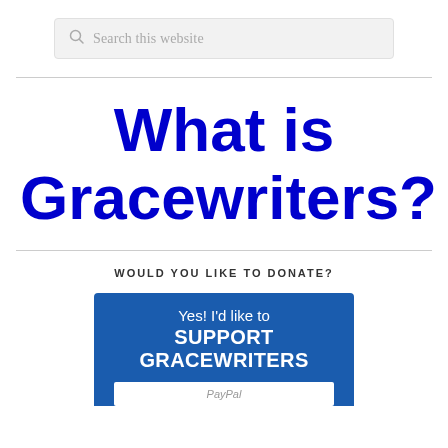[Figure (screenshot): Search bar with magnifying glass icon and placeholder text 'Search this website']
What is Gracewriters?
WOULD YOU LIKE TO DONATE?
[Figure (screenshot): Blue donate button with text 'Yes! I'd like to SUPPORT GRACEWRITERS' and a PayPal button strip below]